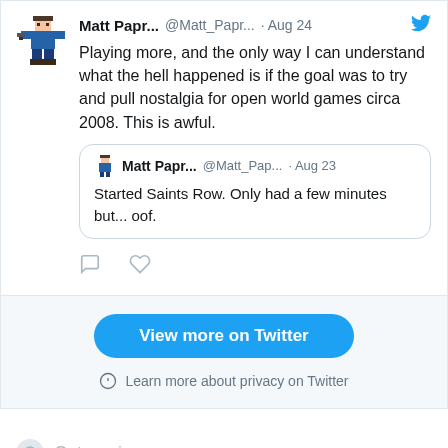[Figure (screenshot): Twitter/social media embed showing a tweet by Matt Papr... (@Matt_Papr...) dated Aug 24, with avatar of a pixel art character. Tweet text: 'Playing more, and the only way I can understand what the hell happened is if the goal was to try and pull nostalgia for open world games circa 2008. This is awful.' Quoting an earlier tweet by same user (@Matt_Pap...) dated Aug 23: 'Started Saints Row. Only had a few minutes but... oof.' Below: reply and like icons. Footer: blue 'View more on Twitter' button and 'Learn more about privacy on Twitter' link.]
Categories